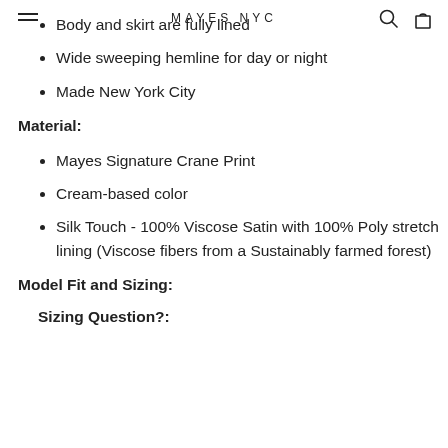MAYES NYC
Body and skirt are fully lined
Wide sweeping hemline for day or night
Made New York City
Material:
Mayes Signature Crane Print
Cream-based color
Silk Touch - 100% Viscose Satin with 100% Poly stretch lining (Viscose fibers from a Sustainably farmed forest)
Model Fit and Sizing:
Sizing Question?: